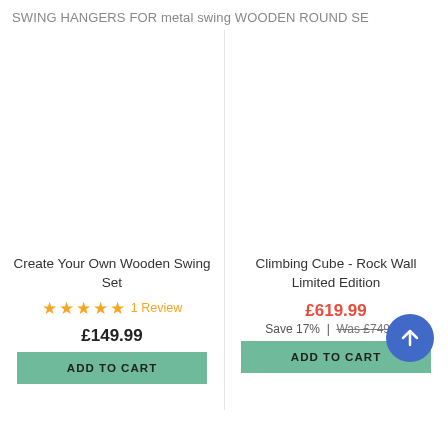SWING HANGERS FOR metal swing WOODEN ROUND SE
[Figure (photo): Product image placeholder for Create Your Own Wooden Swing Set (white/blank)]
Create Your Own Wooden Swing Set
★★★★★ 1 Review
£149.99
ADD TO CART
[Figure (photo): Product image placeholder for Climbing Cube - Rock Wall Limited Edition (white/blank)]
Climbing Cube - Rock Wall Limited Edition
£619.99
Save 17% | Was £749.99
ADD TO CART